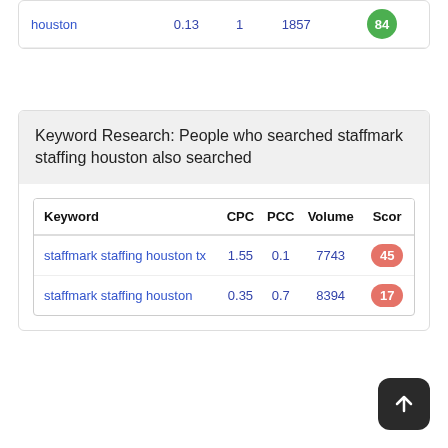| Keyword | CPC | PCC | Volume | Score |
| --- | --- | --- | --- | --- |
| houston | 0.13 | 1 | 1857 | 84 |
Keyword Research: People who searched staffmark staffing houston also searched
| Keyword | CPC | PCC | Volume | Score |
| --- | --- | --- | --- | --- |
| staffmark staffing houston tx | 1.55 | 0.1 | 7743 | 45 |
| staffmark staffing houston | 0.35 | 0.7 | 8394 | 17 |